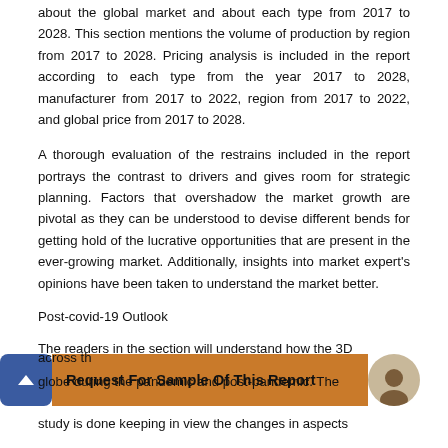about the global market and about each type from 2017 to 2028. This section mentions the volume of production by region from 2017 to 2028. Pricing analysis is included in the report according to each type from the year 2017 to 2028, manufacturer from 2017 to 2022, region from 2017 to 2022, and global price from 2017 to 2028.
A thorough evaluation of the restrains included in the report portrays the contrast to drivers and gives room for strategic planning. Factors that overshadow the market growth are pivotal as they can be understood to devise different bends for getting hold of the lucrative opportunities that are present in the ever-growing market. Additionally, insights into market expert's opinions have been taken to understand the market better.
Post-covid-19 Outlook
The readers in the section will understand how the 3D ... across the globe during the pandemic and post-pandemic. The study is done keeping in view the changes in aspects
[Figure (other): Orange banner with dark blue button showing upward chevron and text 'Request For Sample Of This Report', with avatar image on the right]